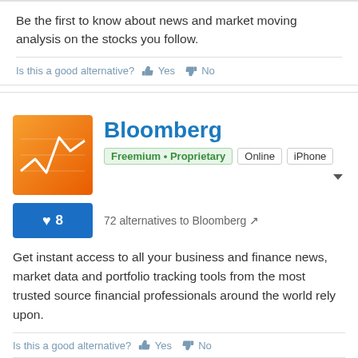Be the first to know about news and market moving analysis on the stocks you follow.
Is this a good alternative? Yes  No
Bloomberg
Freemium • Proprietary  Online  iPhone
72 alternatives to Bloomberg
Get instant access to all your business and finance news, market data and portfolio tracking tools from the most trusted source financial professionals around the world rely upon.
Is this a good alternative? Yes  No